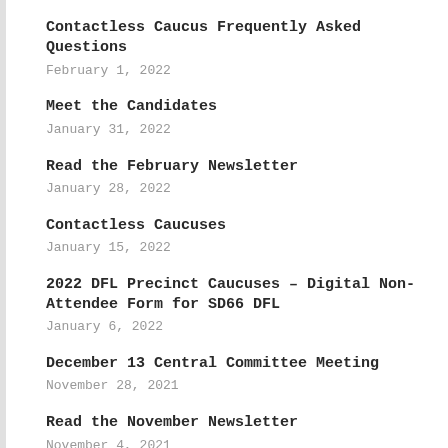Contactless Caucus Frequently Asked Questions
February 1, 2022
Meet the Candidates
January 31, 2022
Read the February Newsletter
January 28, 2022
Contactless Caucuses
January 15, 2022
2022 DFL Precinct Caucuses – Digital Non-Attendee Form for SD66 DFL
January 6, 2022
December 13 Central Committee Meeting
November 28, 2021
Read the November Newsletter
November 4, 2021